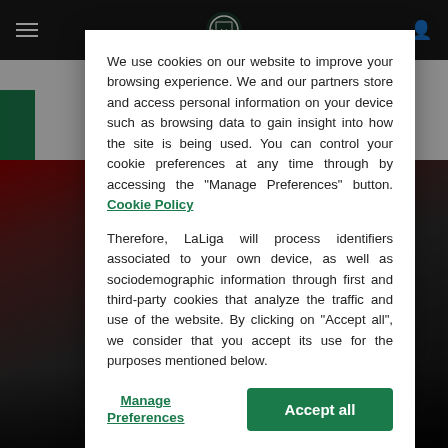[Figure (screenshot): Website screenshot showing LaLiga website in the background with a cookie consent modal dialog overlaid. The background shows a dark navigation bar with hamburger menu, LaLiga logo, and user icon. Below is a breadcrumb 'Home' and a partially visible video title. A football stadium image is visible behind the modal. The modal contains cookie consent text and two buttons: 'Manage Preferences' and 'Accept all'.]
We use cookies on our website to improve your browsing experience. We and our partners store and access personal information on your device such as browsing data to gain insight into how the site is being used. You can control your cookie preferences at any time through by accessing the "Manage Preferences" button. Cookie Policy
Therefore, LaLiga will process identifiers associated to your own device, as well as sociodemographic information through first and third-party cookies that analyze the traffic and use of the website. By clicking on "Accept all", we consider that you accept its use for the purposes mentioned below.
Manage Preferences
Accept all